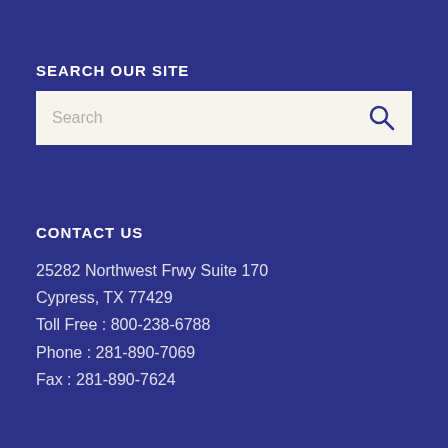SEARCH OUR SITE
Search
CONTACT US
25282 Northwest Frwy Suite 170
Cypress, TX 77429
Toll Free : 800-238-6788
Phone : 281-890-7069
Fax : 281-890-7624